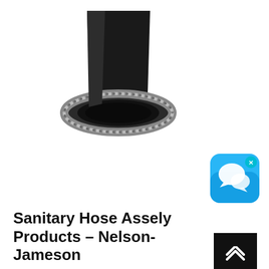[Figure (photo): End-on view of a black rubber sanitary hose with braided stainless steel reinforcement visible at the cut end, showing a circular dark inner bore surrounded by metallic braid.]
[Figure (screenshot): A blue chat/messaging app icon with speech bubbles, with an 'x' close button in the upper right corner.]
Sanitary Hose Assely Products - Nelson-Jameson
manufactured from 316L grade stainless steel and stamped with a material traceability nuer which is our commitment to quality. Seal-Rite radial crimped couplers are available for attachment on a variety of hoses. A wide range of end styles, sizes 1/2" through 6" are available. Seal-Rite™ Permanent Radial Crimp